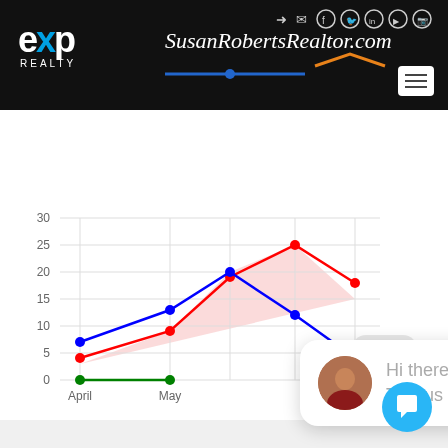[Figure (screenshot): eXp Realty website header with logo, SusanRobertsRealtor.com branding, social media icons, and navigation menu button on black background]
[Figure (line-chart): Line chart with three series (red, blue, green)]
close
Hi there, have a question? Text us here.